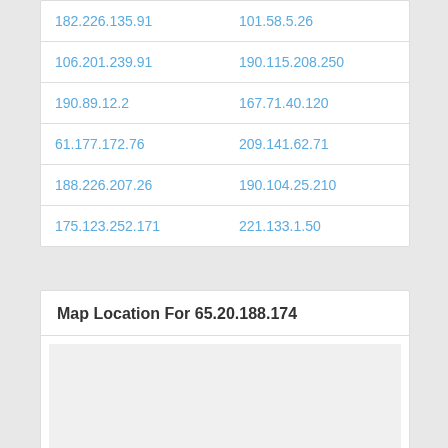| 182.226.135.91 | 101.58.5.26 |
| 106.201.239.91 | 190.115.208.250 |
| 190.89.12.2 | 167.71.40.120 |
| 61.177.172.76 | 209.141.62.71 |
| 188.226.207.26 | 190.104.25.210 |
| 175.123.252.171 | 221.133.1.50 |
Map Location For 65.20.188.174
[Figure (map): Map placeholder area showing location for IP 65.20.188.174]